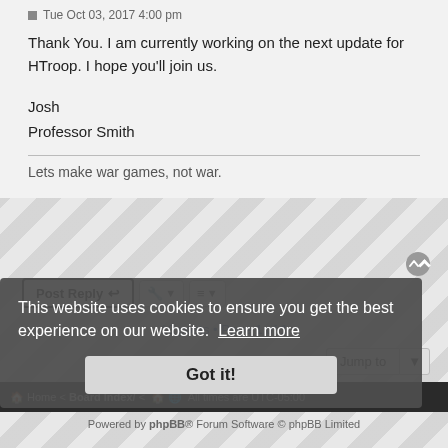Tue Oct 03, 2017 4:00 pm
Thank You. I am currently working on the next update for HTroop. I hope you'll join us.
Josh
Professor Smith
Lets make war games, not war.
Post Reply
10 posts • Page 1 of 1
Jump to
Home • Board Index/ • All times are UTC-05:00
This website uses cookies to ensure you get the best experience on our website. Learn more
Got it!
Powered by phpBB® Forum Software © phpBB Limited